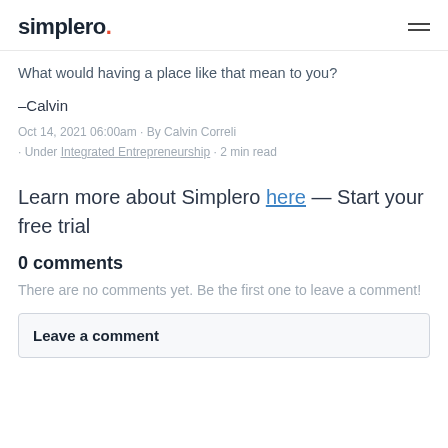simplero.
What would having a place like that mean to you?
–Calvin
Oct 14, 2021 06:00am · By Calvin Correli · Under Integrated Entrepreneurship · 2 min read
Learn more about Simplero here — Start your free trial
0 comments
There are no comments yet. Be the first one to leave a comment!
Leave a comment